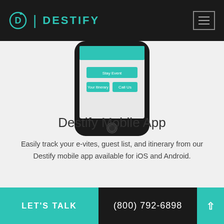DESTIFY
[Figure (screenshot): Partial view of a smartphone (iPhone-style) showing the Destify mobile app interface with teal UI elements including buttons labeled 'Stay Event', 'Your Itinerary', and 'Call Us'.]
Destify Mobile App
Easily track your e-vites, guest list, and itinerary from our Destify mobile app available for iOS and Android.
LET'S TALK   (800) 792-6898